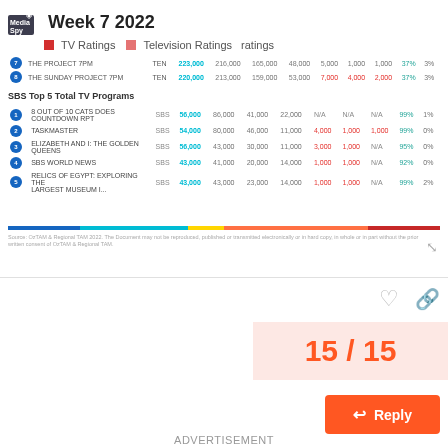Week 7 2022 — TV Ratings | Television Ratings ratings
| # | Show | Net | Total | Col1 | Col2 | Col3 | Col4 | Col5 | Col6 | Col7 |
| --- | --- | --- | --- | --- | --- | --- | --- | --- | --- | --- |
| 7 | THE PROJECT 7PM | TEN | 223,000 | 216,000 | 165,000 | 48,000 | 5,000 | 1,000 | 1,000 | 37% | 3% |
| 8 | THE SUNDAY PROJECT 7PM | TEN | 220,000 | 213,000 | 159,000 | 53,000 | 7,000 | 4,000 | 2,000 | 37% | 3% |
SBS Top 5 Total TV Programs
| # | Show | Net | Total | Col1 | Col2 | Col3 | Col4 | Col5 | Col6 | Col7 | Col8 |
| --- | --- | --- | --- | --- | --- | --- | --- | --- | --- | --- | --- |
| 1 | 8 OUT OF 10 CATS DOES COUNTDOWN RPT | SBS | 56,000 | 86,000 | 41,000 | 22,000 | N/A | N/A | N/A | 99% | 1% |
| 2 | TASKMASTER | SBS | 54,000 | 80,000 | 46,000 | 11,000 | 4,000 | 1,000 | 1,000 | 99% | 0% |
| 3 | ELIZABETH AND I: THE GOLDEN QUEENS | SBS | 56,000 | 43,000 | 30,000 | 11,000 | 3,000 | 1,000 | N/A | 95% | 0% |
| 4 | SBS WORLD NEWS | SBS | 43,000 | 41,000 | 20,000 | 14,000 | 1,000 | 1,000 | N/A | 92% | 0% |
| 5 | RELICS OF EGYPT: EXPLORING THE LARGEST MUSEUM I... | SBS | 43,000 | 43,000 | 23,000 | 14,000 | 1,000 | 1,000 | N/A | 99% | 2% |
Source: OzTAM & Regional TAM 2022. The Document may not be reproduced, published or transmitted electronically or in hard copy, in whole or in part without the prior written consent of OzTAM & Regional TAM.
15 / 15
Reply
ADVERTISEMENT